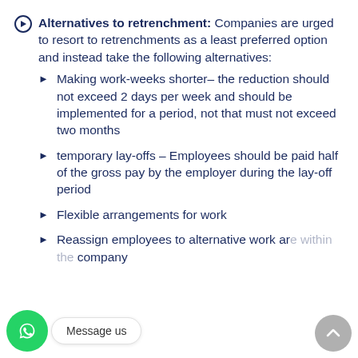Alternatives to retrenchment: Companies are urged to resort to retrenchments as a least preferred option and instead take the following alternatives:
Making work-weeks shorter– the reduction should not exceed 2 days per week and should be implemented for a period, not that must not exceed two months
temporary lay-offs – Employees should be paid half of the gross pay by the employer during the lay-off period
Flexible arrangements for work
Reassign employees to alternative work are [partially obscured] company